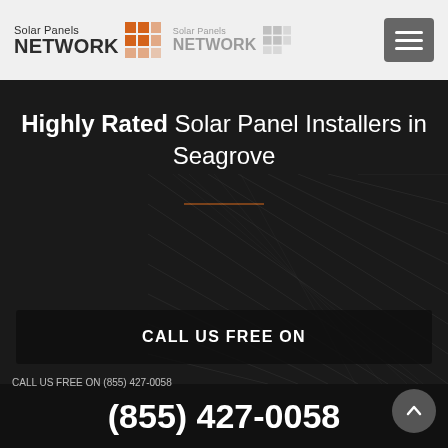Solar Panels NETWORK (logo)
Highly Rated Solar Panel Installers in Seagrove
CALL US FREE ON
(855) 427-0058
CALL US FREE ON (855) 427-0058